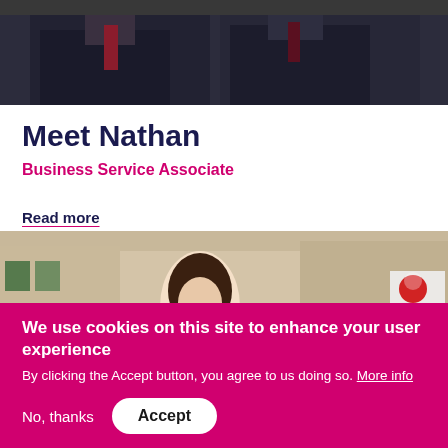[Figure (photo): Top portion of a photo showing two people in dark suits, partial upper body and head view against a dark background]
Meet Nathan
Business Service Associate
Read more
[Figure (photo): A woman with long dark hair smiling, walking on a busy street with shops and buildings in the background, HSBC logo visible]
We use cookies on this site to enhance your user experience
By clicking the Accept button, you agree to us doing so. More info
No, thanks
Accept